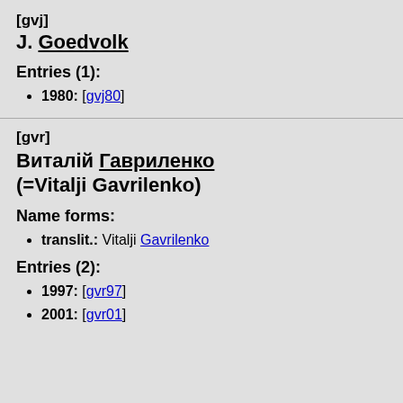[gvj]
J. Goedvolk
Entries (1):
1980: [gvj80]
[gvr]
Виталій Гавриленко (=Vitalji Gavrilenko)
Name forms:
translit.: Vitalji Gavrilenko
Entries (2):
1997: [gvr97]
2001: [gvr01]